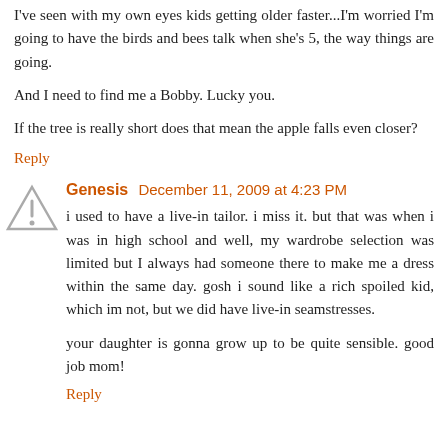I've seen with my own eyes kids getting older faster...I'm worried I'm going to have the birds and bees talk when she's 5, the way things are going.
And I need to find me a Bobby. Lucky you.
If the tree is really short does that mean the apple falls even closer?
Reply
Genesis  December 11, 2009 at 4:23 PM
i used to have a live-in tailor. i miss it. but that was when i was in high school and well, my wardrobe selection was limited but I always had someone there to make me a dress within the same day. gosh i sound like a rich spoiled kid, which im not, but we did have live-in seamstresses.
your daughter is gonna grow up to be quite sensible. good job mom!
Reply